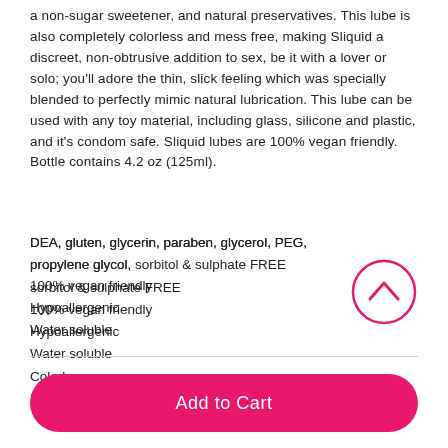a non-sugar sweetener, and natural preservatives. This lube is also completely colorless and mess free, making Sliquid a discreet, non-obtrusive addition to sex, be it with a lover or solo; you'll adore the thin, slick feeling which was specially blended to perfectly mimic natural lubrication. This lube can be used with any toy material, including glass, silicone and plastic, and it's condom safe. Sliquid lubes are 100% vegan friendly. Bottle contains 4.2 oz (125ml).
DEA, gluten, glycerin, paraben, glycerol, PEG, propylene glycol, sorbitol & sulphate FREE
100% vegan friendly
Hypoallergenic
Water soluble
Colorless
Natural feel
[Figure (other): Pink circular scroll-up button with upward chevron arrow icon]
Add to Cart